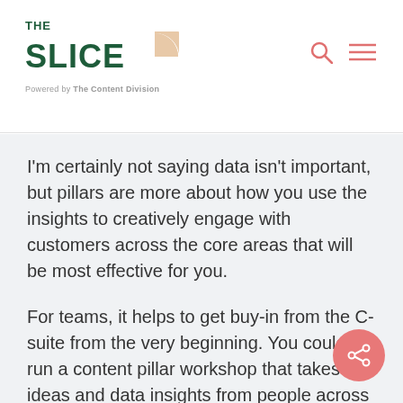THE SLICE — Powered by The Content Division
I'm certainly not saying data isn't important, but pillars are more about how you use the insights to creatively engage with customers across the core areas that will be most effective for you.
For teams, it helps to get buy-in from the C-suite from the very beginning. You could run a content pillar workshop that takes ideas and data insights from people across the business, puts them in front of decision makers...